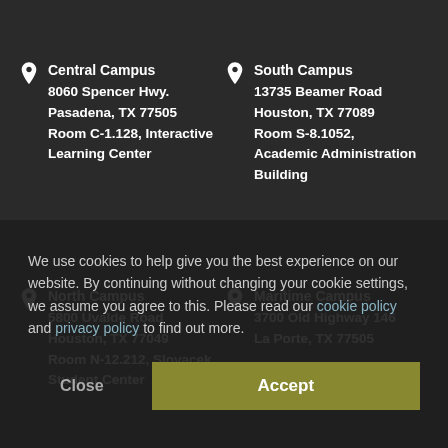Central Campus
8060 Spencer Hwy.
Pasadena, TX 77505
Room C-1.128, Interactive Learning Center
South Campus
13735 Beamer Road
Houston, TX 77089
Room S-8.1052, Academic Administration Building
North Campus
5800 Uvalde Road
Houston, TX 77049
Room N-12.212, Slovacek Student Center
Maritime Campus
3700 Old Highway 146
La Porte, TX 77505
We use cookies to help give you the best experience on our website. By continuing without changing your cookie settings, we assume you agree to this. Please read our cookie policy and privacy policy to find out more.